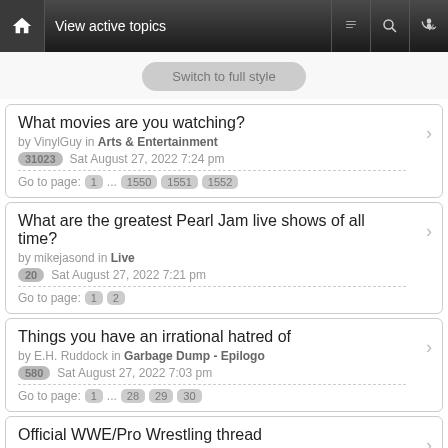View active topics
Switch to full style
What movies are you watching?
by VinylGuy in Arts & Entertainment
31023  Sat August 27, 2022 7:24 pm
Go to page: 1 ... 1550 1551 1552
What are the greatest Pearl Jam live shows of all time?
by mikejasond in Live
20  Sat August 27, 2022 7:21 pm
Go to page: 1 2
Things you have an irrational hatred of
by E.H. Ruddock in Garbage Dump - Epilogo
580  Sat August 27, 2022 7:03 pm
Go to page: 1 ... 28 29 30
Official WWE/Pro Wrestling thread
by rich in Sports
5311  Sat August 27, 2022 6:48 pm
Go to page: 1 ... 264 265 266